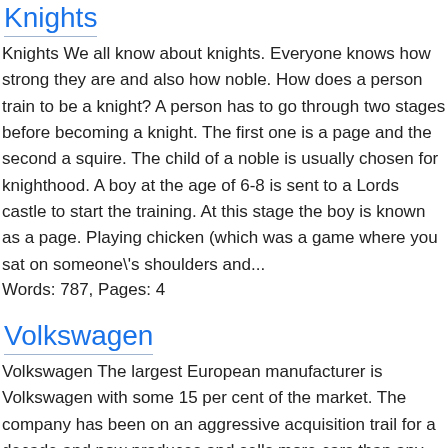Knights
Knights We all know about knights. Everyone knows how strong they are and also how noble. How does a person train to be a knight? A person has to go through two stages before becoming a knight. The first one is a page and the second a squire. The child of a noble is usually chosen for knighthood. A boy at the age of 6-8 is sent to a Lords castle to start the training. At this stage the boy is known as a page. Playing chicken (which was a game where you sat on someone\'s shoulders and...
Words: 787, Pages: 4
Volkswagen
Volkswagen The largest European manufacturer is Volkswagen with some 15 per cent of the market. The company has been on an aggressive acquisition trail for a decade and now produces and sells more cars than any other European